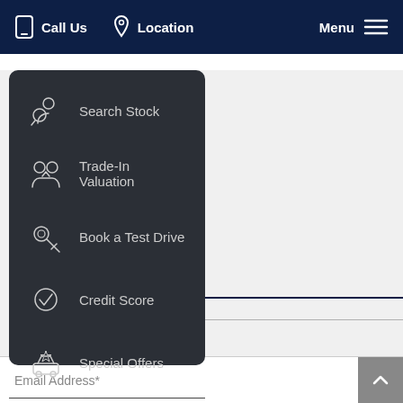Call Us  Location  Menu
Search Stock
Trade-In Valuation
Book a Test Drive
Credit Score
Special Offers
Minimise
Email Address*